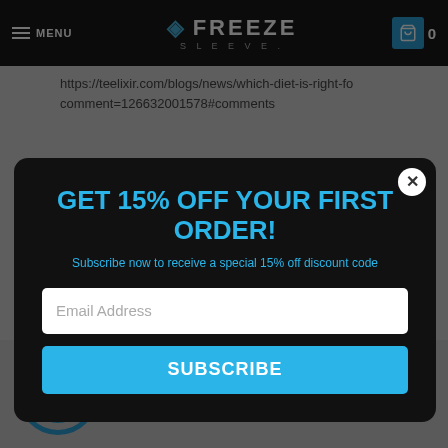MENU | FREEZE SLEEVE. | 0
https://teelixir.com/blogs/news/which-diet-is-right-fo comment=126632001578#comments
[Figure (screenshot): Modal popup with black background on Freeze Sleeve website. Contains heading 'GET 15% OFF YOUR FIRST ORDER!', subtitle 'Subscribe now to receive a special 15% off discount code', an email address input field, and a blue SUBSCRIBE button. A close (X) button is in top-right corner of the modal.]
May 04, 2022
hhttps://www.nbcnews.com/search/?q=https://opvie